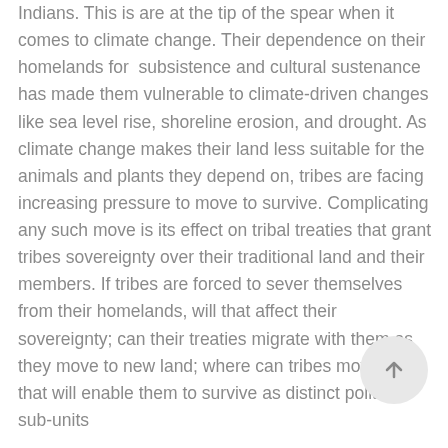Indians. This is are at the tip of the spear when it comes to climate change. Their dependence on their homelands for subsistence and cultural sustenance has made them vulnerable to climate-driven changes like sea level rise, shoreline erosion, and drought. As climate change makes their land less suitable for the animals and plants they depend on, tribes are facing increasing pressure to move to survive. Complicating any such move is its effect on tribal treaties that grant tribes sovereignty over their traditional land and their members. If tribes are forced to sever themselves from their homelands, will that affect their sovereignty; can their treaties migrate with them as they move to new land; where can tribes move to that will enable them to survive as distinct political sub-units